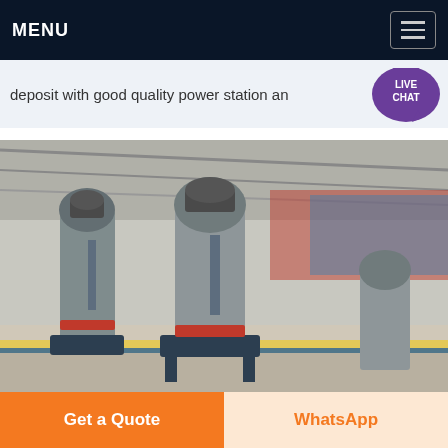MENU
deposit with good quality power station an...
[Figure (photo): Industrial grinding mill machines in a factory setting. Multiple large gray vertical grinding mill units are arranged on a yellow-edged concrete floor inside a large warehouse/shed. Gravel is spread on part of the floor. Red and blue structures are visible in the background outside the open sides of the shed.]
Get a Quote
WhatsApp